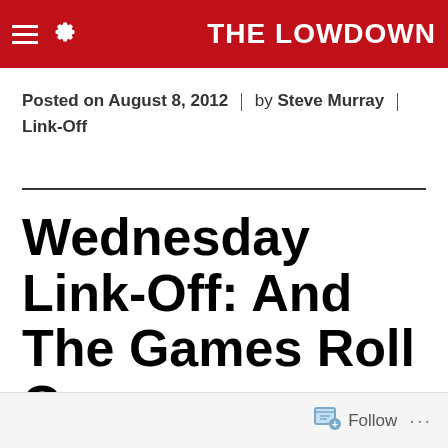THE LOWDOWN
Posted on August 8, 2012 | by Steve Murray | Link-Off
Wednesday Link-Off: And The Games Roll On